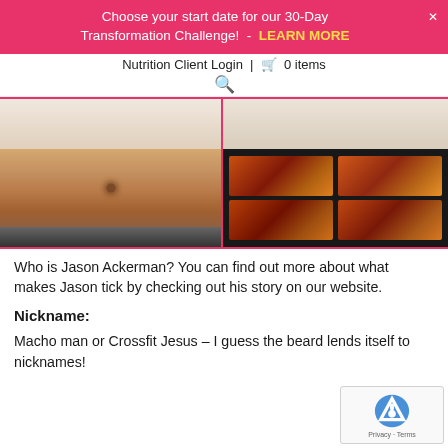Choose your start date for our 30-Day Transformation Challenge! - LEARN MORE
Nutrition Client Login | 🛒 0 items
[Figure (photo): Two-panel image: left panel shows a person's midsection/belly with a waistband, right panel shows product packages/supplements on shelves in a dark gym setting]
Who is Jason Ackerman? You can find out more about what makes Jason tick by checking out his story on our website.
Nickname:
Macho man or Crossfit Jesus – I guess the beard lends itself to nicknames!